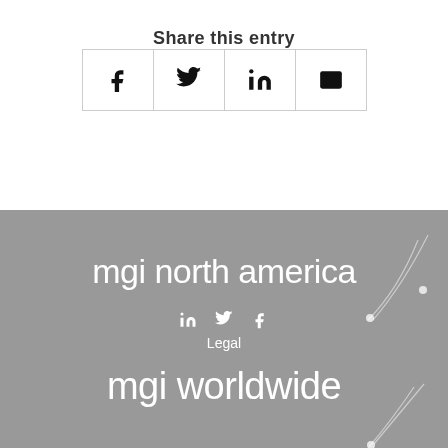Share this entry
[Figure (other): Social share buttons row: Facebook (f), Twitter (bird), LinkedIn (in), Email (envelope)]
[Figure (logo): MGI North America logo with swoosh graphic, social icons (in, twitter, f), Legal link, and MGI Worldwide logo partially visible]
Legal